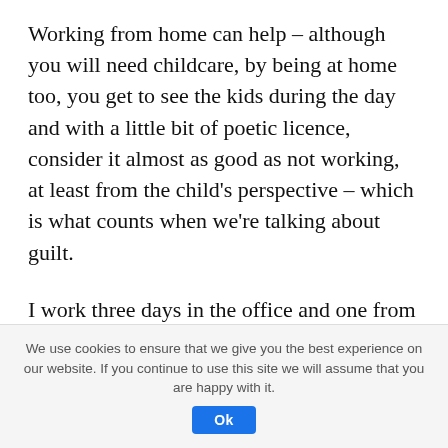Working from home can help – although you will need childcare, by being at home too, you get to see the kids during the day and with a little bit of poetic licence, consider it almost as good as not working, at least from the child's perspective – which is what counts when we're talking about guilt.
I work three days in the office and one from home – my childminder comes when I'm at home on Thursdays, and my daughters are out at school in the morning and at gymnastics in the afternoon. I see them in between all of
We use cookies to ensure that we give you the best experience on our website. If you continue to use this site we will assume that you are happy with it.